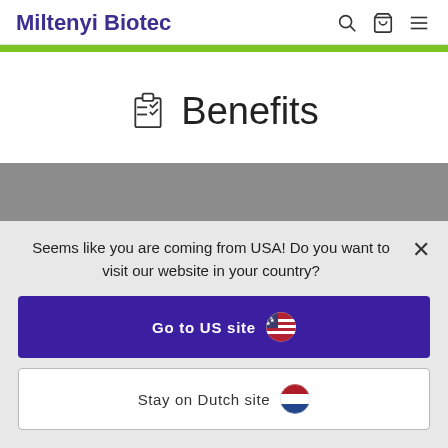Miltenyi Biotec
Benefits
[Figure (screenshot): Gray image placeholder block below the Benefits heading]
Seems like you are coming from USA! Do you want to visit our website in your country?
Go to US site
Stay on Dutch site